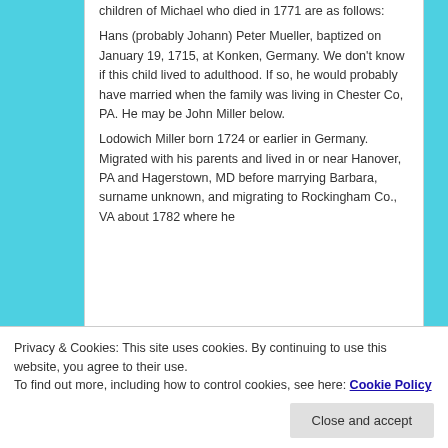children of Michael who died in 1771 are as follows: Hans (probably Johann) Peter Mueller, baptized on January 19, 1715, at Konken, Germany. We don't know if this child lived to adulthood. If so, he would probably have married when the family was living in Chester Co, PA. He may be John Miller below. Lodowich Miller born 1724 or earlier in Germany. Migrated with his parents and lived in or near Hanover, PA and Hagerstown, MD before marrying Barbara, surname unknown, and migrating to Rockingham Co., VA about 1782 where he
Privacy & Cookies: This site uses cookies. By continuing to use this website, you agree to their use. To find out more, including how to control cookies, see here: Cookie Policy
Maugensville. Married Magdalena,